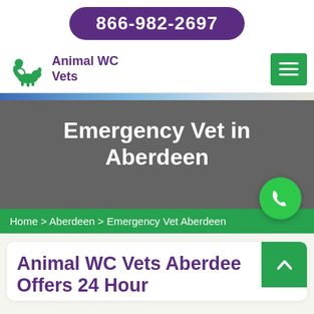866-982-2697
Animal WC Vets
[Figure (logo): Animal WC Vets green silhouette logo showing person with pet]
Emergency Vet in Aberdeen
[Figure (other): Green circular phone call button]
Home > Aberdeen > Emergency Vet Aberdeen
Animal WC Vets Aberdeen Offers 24 Hour